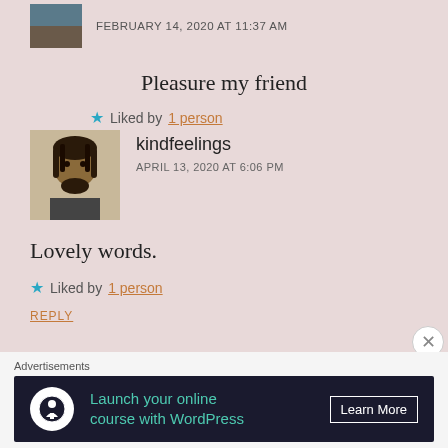FEBRUARY 14, 2020 AT 11:37 AM
Pleasure my friend
★ Liked by 1 person
[Figure (photo): Avatar photo of kindfeelings commenter]
kindfeelings
APRIL 13, 2020 AT 6:06 PM
Lovely words.
★ Liked by 1 person
REPLY
[Figure (logo): HeartyPsych avatar with psi symbol]
HeartyPsych
Advertisements
[Figure (infographic): Advertisement banner: Launch your online course with WordPress — Learn More]